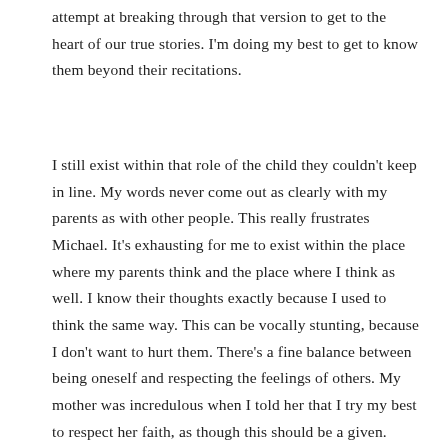attempt at breaking through that version to get to the heart of our true stories. I'm doing my best to get to know them beyond their recitations.
I still exist within that role of the child they couldn't keep in line. My words never come out as clearly with my parents as with other people. This really frustrates Michael. It's exhausting for me to exist within the place where my parents think and the place where I think as well. I know their thoughts exactly because I used to think the same way. This can be vocally stunting, because I don't want to hurt them. There's a fine balance between being oneself and respecting the feelings of others. My mother was incredulous when I told her that I try my best to respect her faith, as though this should be a given. They think that I am deceived, while I think that they are deceived. Perhaps we are two sides of the same coin. But perhaps not. Faith is static and fights to never be challenged by